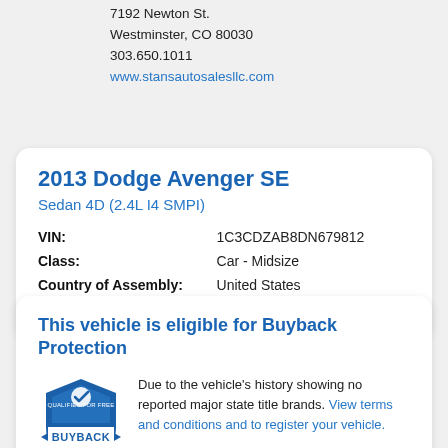7192 Newton St.
Westminster, CO 80030
303.650.1011
www.stansautosalesllc.com
2013 Dodge Avenger SE
Sedan 4D (2.4L I4 SMPI)
| VIN: | 1C3CDZAB8DN679812 |
| Class: | Car - Midsize |
| Country of Assembly: | United States |
| Vehicle Age: | 9 year(s) |
This vehicle is eligible for Buyback Protection
[Figure (logo): AutoCheck Qualifies for Free Buyback Protection 1 Year badge/shield logo]
Due to the vehicle's history showing no reported major state title brands. View terms and conditions and to register your vehicle.